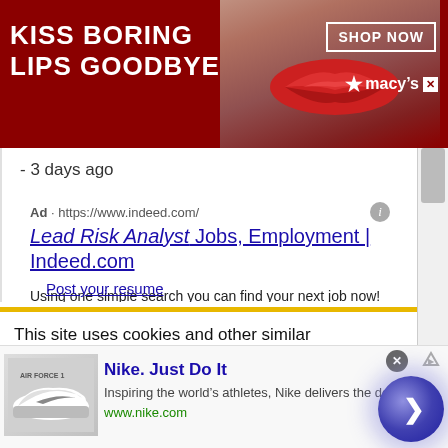[Figure (illustration): Macy's banner advertisement: dark red background with woman's face showing red lips in center, bold white text 'KISS BORING LIPS GOODBYE' on left, 'SHOP NOW' button and Macy's star logo on right, close X button bottom right]
- 3 days ago
Ad · https://www.indeed.com/
Lead Risk Analyst Jobs, Employment | Indeed.com
Using one simple search you can find your next job now! Indeed.com
Post your resume
This site uses cookies and other similar technologies to provide site functionality, analyze traffic and usage, and
[Figure (illustration): Nike advertisement at bottom: thumbnail image of Nike Air Force 1 sneakers on left, 'Nike. Just Do It' brand text in blue, 'Inspiring the world's athletes, Nike delivers the deals' tagline, 'www.nike.com' URL in green, large blue circular arrow button on right, close X button and ad info arrow at top right]